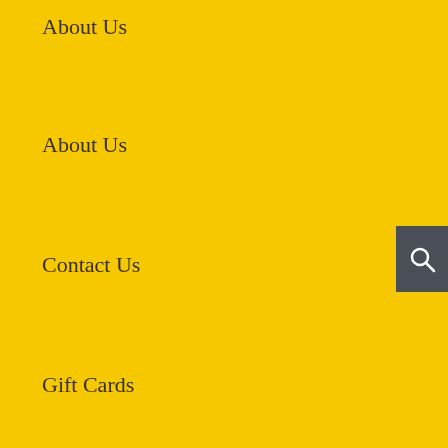About Us
About Us
Contact Us
Gift Cards
FAQs
Blog
Seed Reviews
All Pepper Seeds
How To Grow Peppers